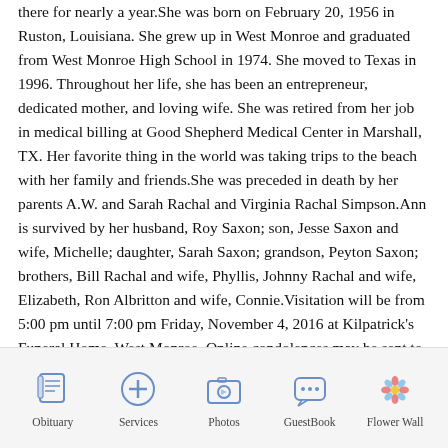there for nearly a year.She was born on February 20, 1956 in Ruston, Louisiana. She grew up in West Monroe and graduated from West Monroe High School in 1974. She moved to Texas in 1996. Throughout her life, she has been an entrepreneur, dedicated mother, and loving wife. She was retired from her job in medical billing at Good Shepherd Medical Center in Marshall, TX. Her favorite thing in the world was taking trips to the beach with her family and friends.She was preceded in death by her parents A.W. and Sarah Rachal and Virginia Rachal Simpson.Ann is survived by her husband, Roy Saxon; son, Jesse Saxon and wife, Michelle; daughter, Sarah Saxon; grandson, Peyton Saxon; brothers, Bill Rachal and wife, Phyllis, Johnny Rachal and wife, Elizabeth, Ron Albritton and wife, Connie.Visitation will be from 5:00 pm until 7:00 pm Friday, November 4, 2016 at Kilpatrick's Funeral Home, West Monroe. Online condolences may be sent to the
[Figure (infographic): Bottom navigation bar with five icons: Obituary (scroll icon), Services (cross/plus icon), Photos (camera icon), GuestBook (speech bubble icon), Flower Wall (flower icon)]